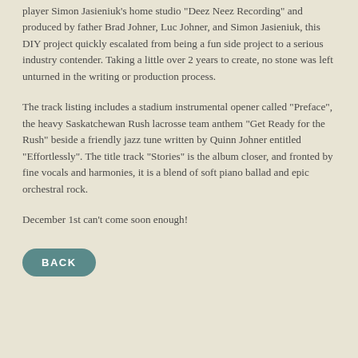player Simon Jasieniuk's home studio 'Deez Neez Recording' and produced by father Brad Johner, Luc Johner, and Simon Jasieniuk, this DIY project quickly escalated from being a fun side project to a serious industry contender. Taking a little over 2 years to create, no stone was left unturned in the writing or production process.
The track listing includes a stadium instrumental opener called "Preface", the heavy Saskatchewan Rush lacrosse team anthem "Get Ready for the Rush" beside a friendly jazz tune written by Quinn Johner entitled "Effortlessly". The title track "Stories" is the album closer, and fronted by fine vocals and harmonies, it is a blend of soft piano ballad and epic orchestral rock.
December 1st can't come soon enough!
BACK